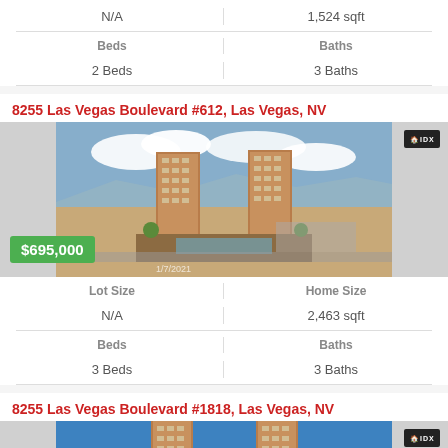| Lot Size | Home Size |
| --- | --- |
| N/A | 1,524 sqft |
| Beds | Baths |
| --- | --- |
| 2 Beds | 3 Baths |
8255 Las Vegas Boulevard #612, Las Vegas, NV
[Figure (photo): Aerial photo of two tall condominium towers with pool area, surrounded by desert landscape, Las Vegas NV. Price badge showing $695,000.]
| Lot Size | Home Size |
| --- | --- |
| N/A | 2,463 sqft |
| Beds | Baths |
| --- | --- |
| 3 Beds | 3 Baths |
8255 Las Vegas Boulevard #1818, Las Vegas, NV
[Figure (photo): Aerial photo of tall condominium towers against blue sky, Las Vegas NV. Partially visible at bottom of page.]